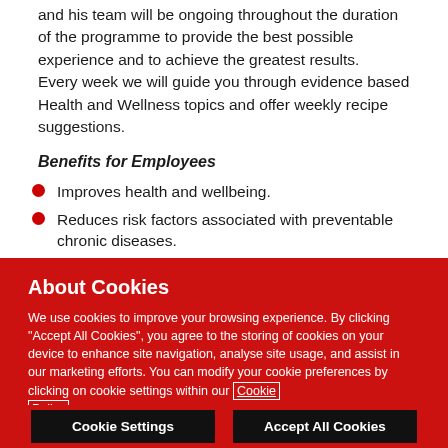and his team will be ongoing throughout the duration of the programme to provide the best possible experience and to achieve the greatest results.
Every week we will guide you through evidence based Health and Wellness topics and offer weekly recipe suggestions.
Benefits for Employees
Improves health and wellbeing.
Reduces risk factors associated with preventable chronic diseases.
Improves self-esteem.
About Cookies
We use cookies to improve your browsing experience. By clicking "Accept All Cookies", you agree to the storing of cookies on your device to enhance site navigation, analyse site usage, and assist in our marketing efforts. You can modify your cookie preferences by clicking on cookie settings within our Cookie Policy
Cookie Settings | Accept All Cookies